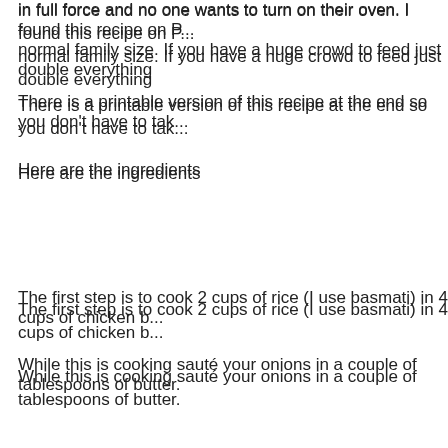in full force and no one wants to turn on their oven. I found this recipe on P... normal family size. If you have a huge crowd to feed just double everything
There is a printable version of this recipe at the end so you don't have to tak...
Here are the ingredients
The first step is to cook 2 cups of rice (I use basmati) in 4 cups of chicken b...
While this is cooking sauté your onions in a couple of tablespoons of butter.
Add the chopped tomato
Then add 1 ½ Tbsp of chili powder and 1 tsp of ground cumin
When this is done add it to the cooked rice
Then stir in a can of black beans and set aside